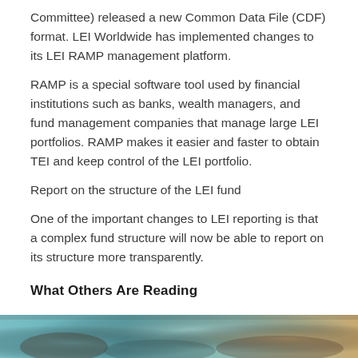Committee) released a new Common Data File (CDF) format. LEI Worldwide has implemented changes to its LEI RAMP management platform.
RAMP is a special software tool used by financial institutions such as banks, wealth managers, and fund management companies that manage large LEI portfolios. RAMP makes it easier and faster to obtain TEI and keep control of the LEI portfolio.
Report on the structure of the LEI fund
One of the important changes to LEI reporting is that a complex fund structure will now be able to report on its structure more transparently.
What Others Are Reading
[Figure (photo): Partial image strip at the bottom of the page, showing a cropped photo (appears to be a person or outdoor scene with teal/brown tones)]